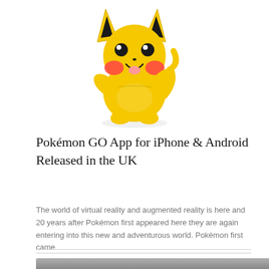[Figure (photo): A yellow Pikachu toy figurine on a white background, with red cheeks, waving one arm upward.]
Pokémon GO App for iPhone & Android Released in the UK
The world of virtual reality and augmented reality is here and 20 years after Pokémon first appeared here they are again entering into this new and adventurous world. Pokémon first came
[Figure (photo): Partial blurred photo at the bottom of the page, dark tones suggesting an outdoor or device scene.]